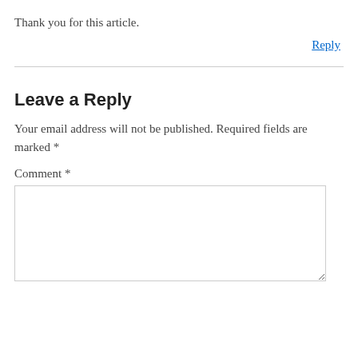Thank you for this article.
Reply
Leave a Reply
Your email address will not be published. Required fields are marked *
Comment *